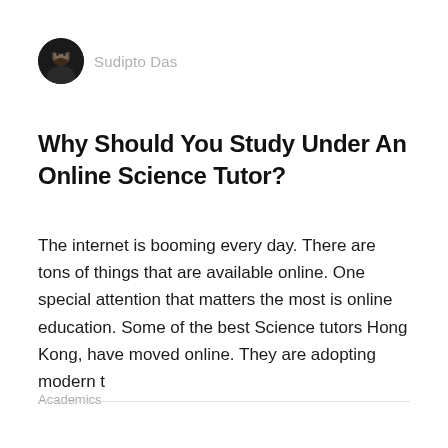[Figure (photo): Circular avatar photo of a man with beard, dark background]
Sudipto Das
Why Should You Study Under An Online Science Tutor?
The internet is booming every day. There are tons of things that are available online. One special attention that matters the most is online education. Some of the best Science tutors Hong Kong, have moved online. They are adopting modern t
Academics